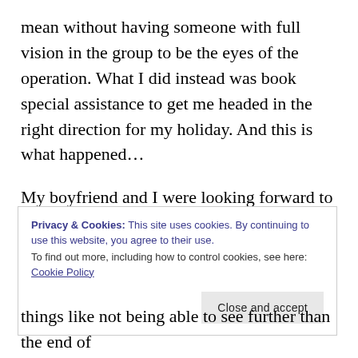mean without having someone with full vision in the group to be the eyes of the operation. What I did instead was book special assistance to get me headed in the right direction for my holiday. And this is what happened…
My boyfriend and I were looking forward to a relaxing week by the pool staying at his relative's villa in Catral, Valencia. We were flying from London Luton to Murcia and doing the same to return in 7 days' time. Both of us
Privacy & Cookies: This site uses cookies. By continuing to use this website, you agree to their use.
To find out more, including how to control cookies, see here: Cookie Policy
Close and accept
things like not being able to see further than the end of